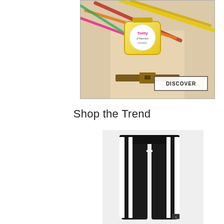[Figure (photo): Hermes Twilly d'Hermes perfume advertisement with colorful ribbons/scarves and a perfume bottle, DISCOVER button overlay]
Shop the Trend
[Figure (photo): Black track pants with white side stripes, displayed on a light grey background]